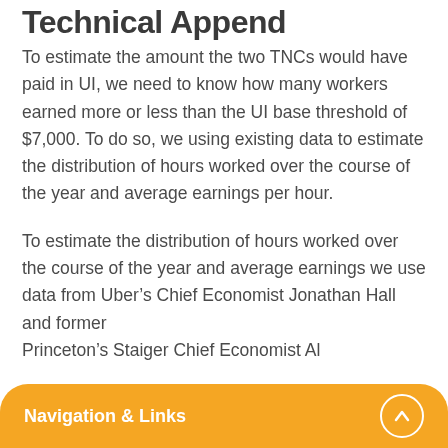Technical Appendix
To estimate the amount the two TNCs would have paid in UI, we need to know how many workers earned more or less than the UI base threshold of $7,000. To do so, we using existing data to estimate the distribution of hours worked over the course of the year and average earnings per hour.
To estimate the distribution of hours worked over the course of the year and average earnings we use data from Uber’s Chief Economist Jonathan Hall and former Princeton’s Staiger Chief Economist Al
Navigation & Links